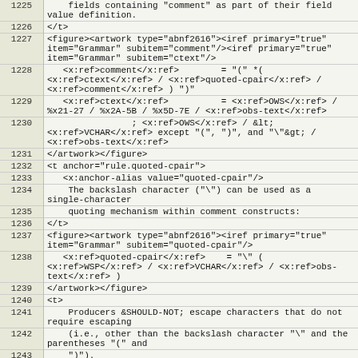| line | code |
| --- | --- |
| 1225 |     fields containing "comment" as part of their field
value definition. |
| 1226 | </t> |
| 1227 | <figure><artwork type="abnf2616"><iref primary="true"
item="Grammar" subitem="comment"/><iref primary="true"
item="Grammar" subitem="ctext"/> |
| 1228 |    <x:ref>comment</x:ref>        = "(" *(
<x:ref>ctext</x:ref> / <x:ref>quoted-cpair</x:ref> /
<x:ref>comment</x:ref> ) ")" |
| 1229 |    <x:ref>ctext</x:ref>          = <x:ref>OWS</x:ref> /
%x21-27 / %x2A-5B / %x5D-7E / <x:ref>obs-text</x:ref> |
| 1230 |                 ; <x:ref>OWS</x:ref> / &lt;
<x:ref>VCHAR</x:ref> except "(", ")", and "\"&gt; /
<x:ref>obs-text</x:ref> |
| 1231 | </artwork></figure> |
| 1232 | <t anchor="rule.quoted-cpair"> |
| 1233 |    <x:anchor-alias value="quoted-cpair"/> |
| 1234 |     The backslash character ("\") can be used as a
single-character |
| 1235 |     quoting mechanism within comment constructs: |
| 1236 | </t> |
| 1237 | <figure><artwork type="abnf2616"><iref primary="true"
item="Grammar" subitem="quoted-cpair"/> |
| 1238 |    <x:ref>quoted-cpair</x:ref>    = "\" (
<x:ref>WSP</x:ref> / <x:ref>VCHAR</x:ref> / <x:ref>obs-
text</x:ref> ) |
| 1239 | </artwork></figure> |
| 1240 | <t> |
| 1241 |     Producers &SHOULD-NOT; escape characters that do not
require escaping |
| 1242 |     (i.e., other than the backslash character "\" and the
parentheses "(" and |
| 1243 |     ")"). |
| 1244 | </t> |